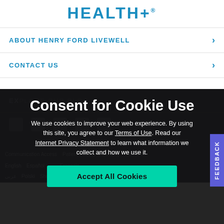[Figure (logo): Henry Ford Health+ logo in blue]
ABOUT HENRY FORD LIVEWELL
CONTACT US
Consent for Cookie Use
We use cookies to improve your web experience. By using this site, you agree to our Terms of Use. Read our Internet Privacy Statement to learn what information we collect and how we use it.
Accept All Cookies
FEEDBACK
© 2022 Henry Ford Health
Communication Access   Patient Privacy & Security   Terms of
English   Español   Français
عربي   Polski   Shqip   Italiano   Tagalog   日本語   中文   Tiếng